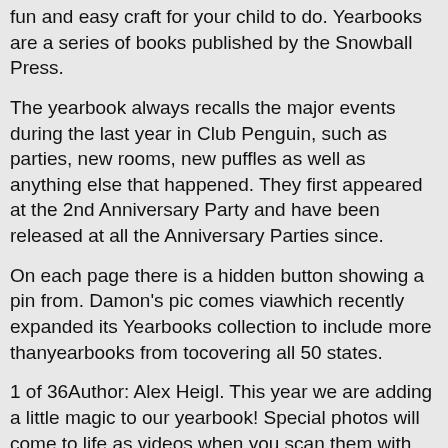fun and easy craft for your child to do. Yearbooks are a series of books published by the Snowball Press.
The yearbook always recalls the major events during the last year in Club Penguin, such as parties, new rooms, new puffles as well as anything else that happened. They first appeared at the 2nd Anniversary Party and have been released at all the Anniversary Parties since.
On each page there is a hidden button showing a pin from. Damon's pic comes viawhich recently expanded its Yearbooks collection to include more thanyearbooks from tocovering all 50 states.
1 of 36Author: Alex Heigl. This year we are adding a little magic to our yearbook! Special photos will come to life as videos when you scan them with your smartphone.
Now in .Issue Date: 8/7/ Inthe U.S. Postal Service® celebrates magic, an art form that holds a special place in American history. Each of the three identical stamps on this souvenir sheet features an effect that mimics a classic illusion.
By rotating each stamp, you can see a white rabbit popping out of a black top hat. Sheet of 3 $New Concepts Software is one of Yearbook Magic's top rivals. New Concepts Software is a